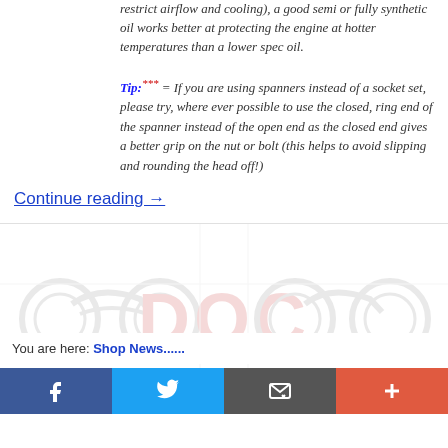restrict airflow and cooling), a good semi or fully synthetic oil works better at protecting the engine at hotter temperatures than a lower spec oil.
Tip:*** = If you are using spanners instead of a socket set, please try, where ever possible to use the closed, ring end of the spanner instead of the open end as the closed end gives a better grip on the nut or bolt (this helps to avoid slipping and rounding the head off!)
Continue reading →
[Figure (logo): DOC watermark/logo with motorcycle silhouettes repeated tiled across the section background]
You are here: Shop News......
Mobility scooters wanted for
[Figure (infographic): Social sharing bar with Facebook, Twitter, email/message, and plus buttons]